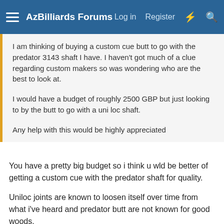AzBilliards Forums  Log in  Register
I am thinking of buying a custom cue butt to go with the predator 3143 shaft I have. I haven't got much of a clue regarding custom makers so was wondering who are the best to look at.

I would have a budget of roughly 2500 GBP but just looking to by the butt to go with a uni loc shaft.

Any help with this would be highly appreciated
You have a pretty big budget so i think u wld be better of getting a custom cue with the predator shaft for quality.
Uniloc joints are known to loosen itself over time from what i've heard and predator butt are not known for good woods.
A few good custom cuemakers that work with predator shaft which i will recommend are Keith Josey, Andy Gilbert ( if hes taking orders ), Rat cues , Mezz cues, Airel carmeli.